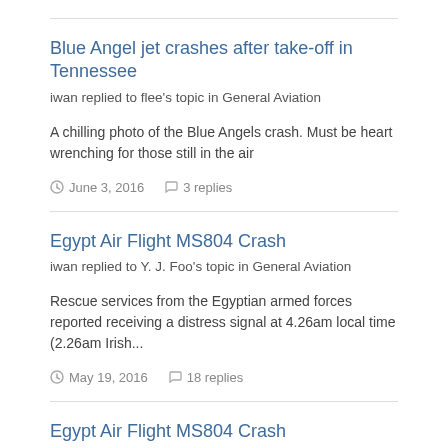Blue Angel jet crashes after take-off in Tennessee
iwan replied to flee's topic in General Aviation
A chilling photo of the Blue Angels crash. Must be heart wrenching for those still in the air
June 3, 2016   3 replies
Egypt Air Flight MS804 Crash
iwan replied to Y. J. Foo's topic in General Aviation
Rescue services from the Egyptian armed forces reported receiving a distress signal at 4.26am local time (2.26am Irish...
May 19, 2016   18 replies
Egypt Air Flight MS804 Crash
iwan replied to Y. J. Foo's topic in General Aviation